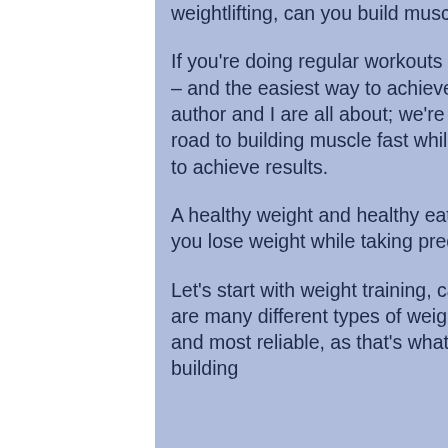weightlifting, can you build muscle while cutting on steroids.
If you're doing regular workouts at a serious level, weightlifting will be your goal – and the easiest way to achieve this is with the right nutrition. This is what the author and I are all about; we're looking for programs that will take you on the road to building muscle fast while maintaining a healthy weight and eating right to achieve results.
A healthy weight and healthy eating is always the best way to build muscle, can you lose weight while taking prednisone.
Let's start with weight training, can you lose weight while on prednisolone. There are many different types of weight training routines. We'll start with the simplest and most reliable, as that's what most everyone follows. The best program for building